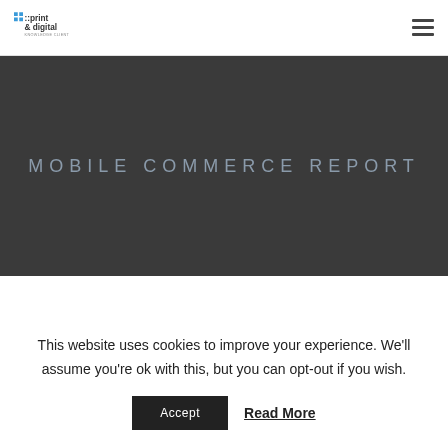:: print & digital
MOBILE COMMERCE REPORT
This website uses cookies to improve your experience. We'll assume you're ok with this, but you can opt-out if you wish.
Accept   Read More